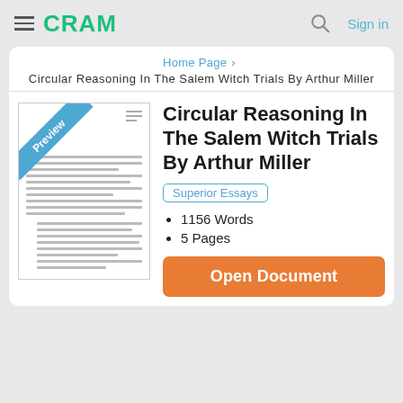CRAM  Sign in
Home Page > Circular Reasoning In The Salem Witch Trials By Arthur Miller
[Figure (screenshot): Preview thumbnail of essay document with 'Preview' ribbon banner]
Circular Reasoning In The Salem Witch Trials By Arthur Miller
Superior Essays
1156 Words
5 Pages
Open Document